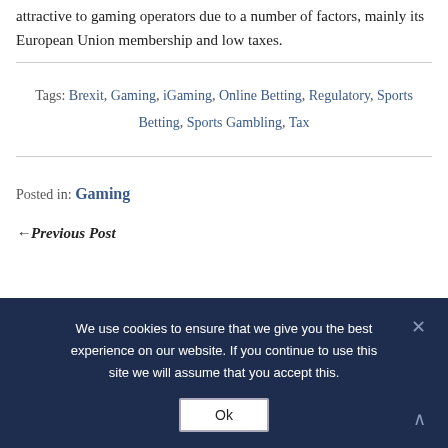attractive to gaming operators due to a number of factors, mainly its European Union membership and low taxes.
Tags: Brexit, Gaming, iGaming, Online Betting, Regulatory, Sports Betting, Sports Gambling, Tax
Posted in: Gaming
←Previous Post
We use cookies to ensure that we give you the best experience on our website. If you continue to use this site we will assume that you accept this.
Ok